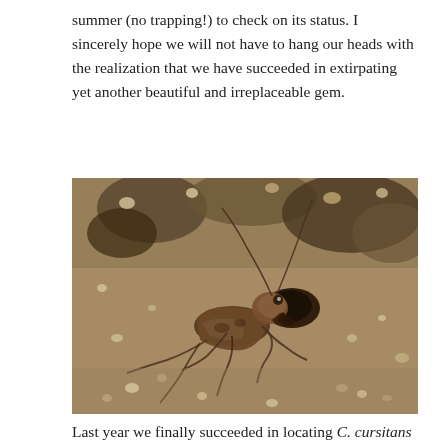summer (no trapping!) to check on its status. I sincerely hope we will not have to hang our heads with the realization that we have succeeded in extirpating yet another beautiful and irreplaceable gem.
[Figure (photo): Close-up macro photograph of a C. cursitans (ant-like tiger beetle) on sandy/gravelly ground, showing the brown mottled insect with long antennae next to a small burrow hole in the sand.]
Last year we finally succeeded in locating C. cursitans (ant-like tiger beetle) in Missouri (left, photo by Chris...